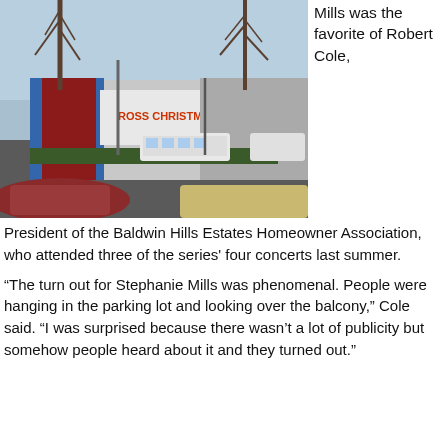[Figure (photo): Exterior photo of a shopping center with a large parking lot, buses visible, bare trees, and a store with a red and white facade and green panel. Cars are parked in the foreground.]
Mills was the favorite of Robert Cole,
President of the Baldwin Hills Estates Homeowner Association, who attended three of the series' four concerts last summer.
“The turn out for Stephanie Mills was phenomenal. People were hanging in the parking lot and looking over the balcony,” Cole said. “I was surprised because there wasn’t a lot of publicity but somehow people heard about it and they turned out.”